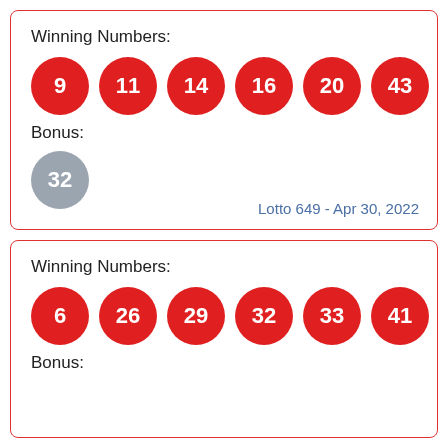Winning Numbers:
[Figure (infographic): Six red circles with white numbers: 9, 11, 14, 16, 20, 43]
Bonus:
[Figure (infographic): One gray circle with white number: 32]
Lotto 649 - Apr 30, 2022
Winning Numbers:
[Figure (infographic): Six red circles with white numbers: 6, 26, 29, 32, 33, 41]
Bonus: